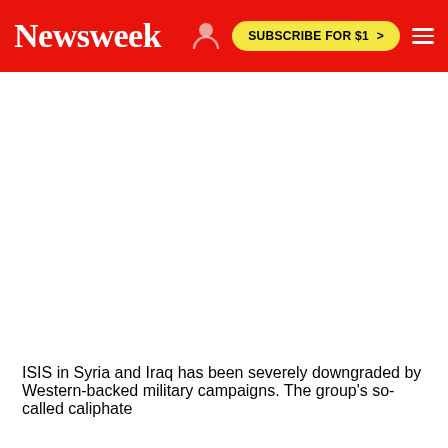Newsweek | SUBSCRIBE FOR $1 >
[Figure (photo): White/blank image area below the Newsweek navigation header]
ISIS in Syria and Iraq has been severely downgraded by Western-backed military campaigns. The group's so-called caliphate